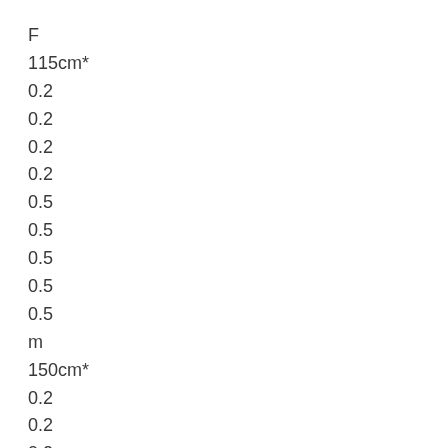F
115cm*
0.2
0.2
0.2
0.2
0.5
0.5
0.5
0.5
0.5
m
150cm*
0.2
0.2
0.2
0.2